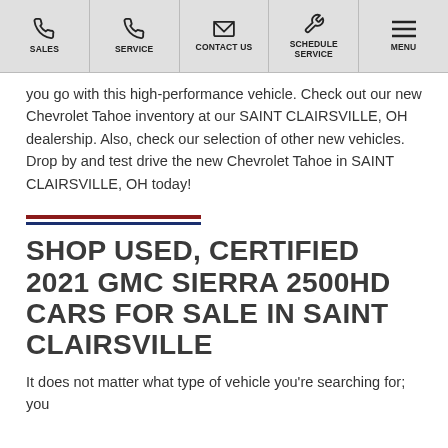SALES | SERVICE | CONTACT US | SCHEDULE SERVICE | MENU
you go with this high-performance vehicle. Check out our new Chevrolet Tahoe inventory at our SAINT CLAIRSVILLE, OH dealership. Also, check our selection of other new vehicles. Drop by and test drive the new Chevrolet Tahoe in SAINT CLAIRSVILLE, OH today!
[Figure (other): Two horizontal decorative lines: one dark red, one dark blue]
SHOP USED, CERTIFIED 2021 GMC SIERRA 2500HD CARS FOR SALE IN SAINT CLAIRSVILLE
It does not matter what type of vehicle you're searching for; you